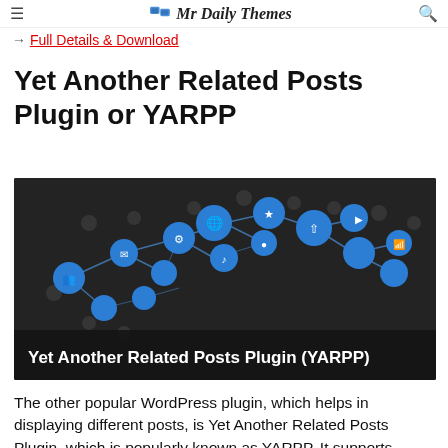Mr Daily Themes
→ Full Details & Download
Yet Another Related Posts Plugin or YARPP
[Figure (illustration): Dark background network/social media icon illustration with blue circular nodes connected by lines and various tech/social icons. Bottom bar reads: Yet Another Related Posts Plugin (YARPP)]
The other popular WordPress plugin, which helps in displaying different posts, is Yet Another Related Posts Plugin, which is popularly known as YARPP. It supports